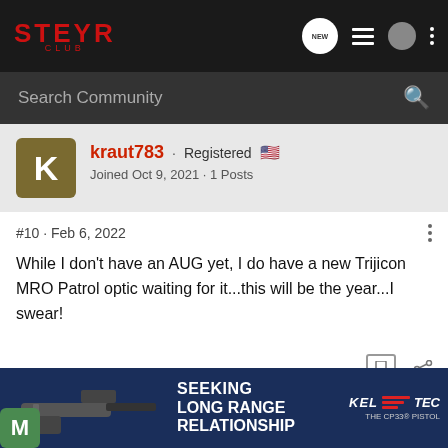STEYR CLUB — navigation header with search bar
kraut783 · Registered · Joined Oct 9, 2021 · 1 Posts
#10 · Feb 6, 2022
While I don't have an AUG yet, I do have a new Trijicon MRO Patrol optic waiting for it...this will be the year...I swear!
[Figure (screenshot): KEL-TEC advertisement banner showing a CP33 pistol with text SEEKING LONG RANGE RELATIONSHIP]